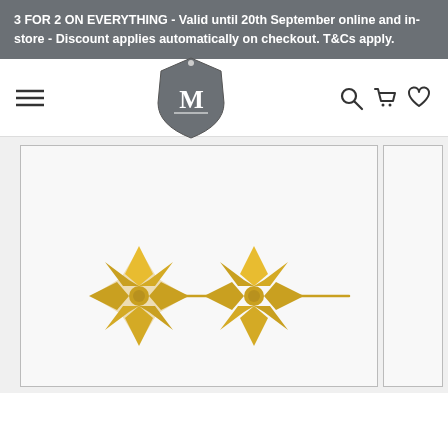3 FOR 2 ON EVERYTHING - Valid until 20th September online and in-store - Discount applies automatically on checkout. T&Cs apply.
[Figure (logo): Merchant 1948 logo - a shield/badge shape with an M inside and a dot above]
[Figure (photo): Two gold flower/star shaped stud earrings with pin backs on a light background]